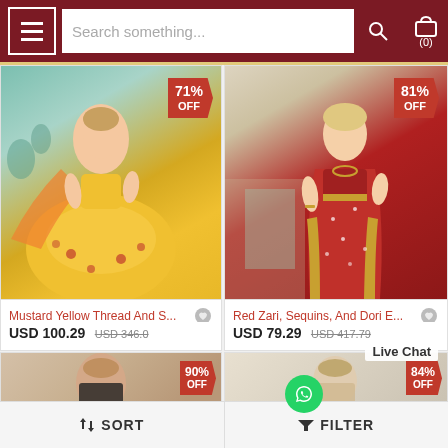Search something... (0)
[Figure (photo): Mustard yellow floral lehenga choli with 71% OFF tag]
[Figure (photo): Red zari sequins saree with 81% OFF tag]
Mustard Yellow Thread And S...
USD 100.29  USD 346.0
Red Zari, Sequins, And Dori E...
USD 79.29  USD 417.79
[Figure (photo): Beige/black outfit with 90% OFF tag]
[Figure (photo): Light colored outfit with 84% OFF tag]
Live Chat
SORT   FILTER